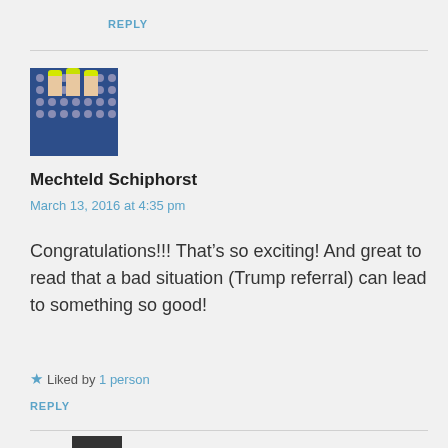REPLY
[Figure (photo): Avatar/profile image showing hands with yellow nails and blue patterned fabric]
Mechteld Schiphorst
March 13, 2016 at 4:35 pm
Congratulations!!! That’s so exciting! And great to read that a bad situation (Trump referral) can lead to something so good!
★ Liked by 1 person
REPLY